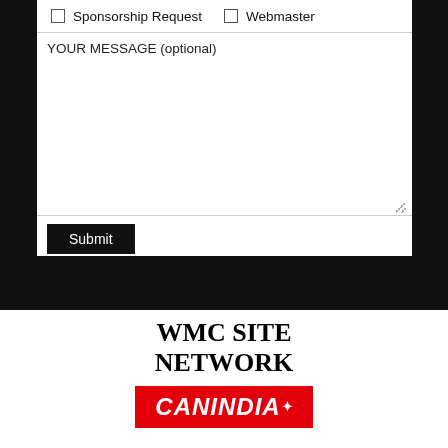[Figure (screenshot): A web form screenshot on a black background showing checkboxes for 'Sponsorship Request' and 'Webmaster', a textarea labeled 'YOUR MESSAGE (optional)', and a Submit button.]
WMC SITE NETWORK
[Figure (logo): CanIndia logo: red rectangle with white bold italic text 'CANINDIA' and a small maple leaf superscript symbol.]